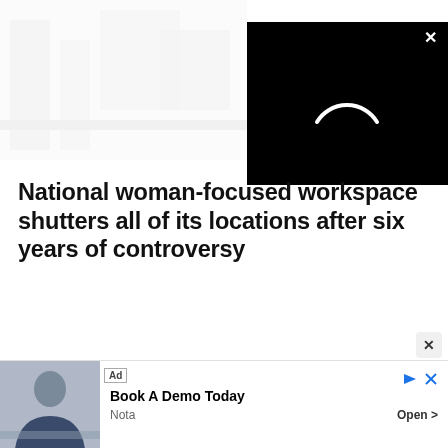[Figure (photo): Faded/washed-out office interior background photo showing desks and office furniture]
[Figure (screenshot): Black video player overlay panel with a white loading spinner arc and a white X close button in the top-right corner]
National woman-focused workspace shutters all of its locations after six years of controversy
[Figure (screenshot): Advertisement banner: Ad label, photo of a man in a suit at a desk, 'Book A Demo Today' text, brand name 'Nota', 'Open >' button, play and close controls]